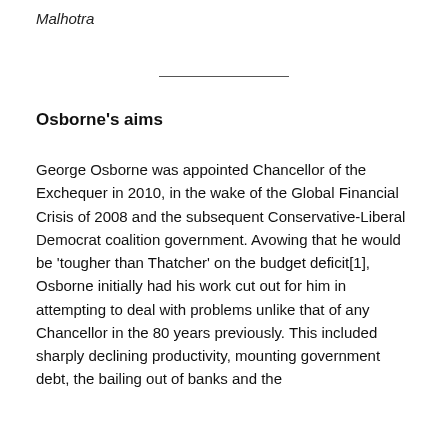Malhotra
Osborne's aims
George Osborne was appointed Chancellor of the Exchequer in 2010, in the wake of the Global Financial Crisis of 2008 and the subsequent Conservative-Liberal Democrat coalition government. Avowing that he would be 'tougher than Thatcher' on the budget deficit[1], Osborne initially had his work cut out for him in attempting to deal with problems unlike that of any Chancellor in the 80 years previously. This included sharply declining productivity, mounting government debt, the bailing out of banks and the